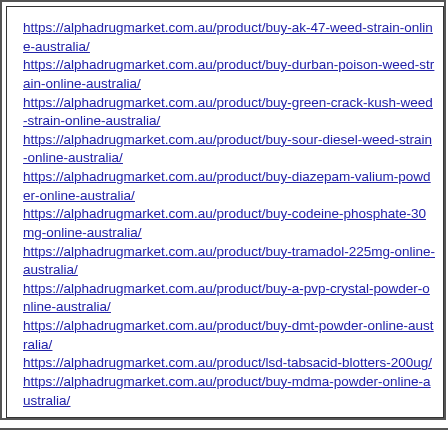https://alphadrugmarket.com.au/product/buy-ak-47-weed-strain-online-australia/
https://alphadrugmarket.com.au/product/buy-durban-poison-weed-strain-online-australia/
https://alphadrugmarket.com.au/product/buy-green-crack-kush-weed-strain-online-australia/
https://alphadrugmarket.com.au/product/buy-sour-diesel-weed-strain-online-australia/
https://alphadrugmarket.com.au/product/buy-diazepam-valium-powder-online-australia/
https://alphadrugmarket.com.au/product/buy-codeine-phosphate-30mg-online-australia/
https://alphadrugmarket.com.au/product/buy-tramadol-225mg-online-australia/
https://alphadrugmarket.com.au/product/buy-a-pvp-crystal-powder-online-australia/
https://alphadrugmarket.com.au/product/buy-dmt-powder-online-australia/
https://alphadrugmarket.com.au/product/lsd-tabsacid-blotters-200ug/
https://alphadrugmarket.com.au/product/buy-mdma-powder-online-australia/
[ Post a Reply to This Message ]